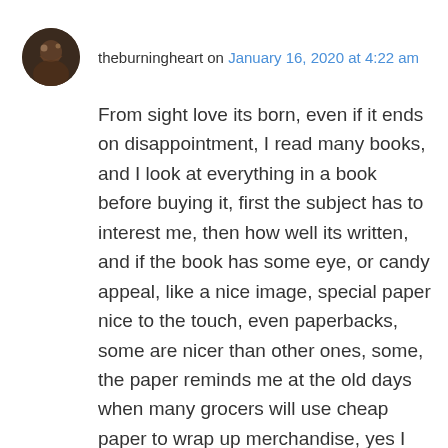[Figure (photo): Circular avatar photo of user theburningheart, dark toned profile image]
theburningheart on January 16, 2020 at 4:22 am
From sight love its born, even if it ends on disappointment, I read many books, and I look at everything in a book before buying it, first the subject has to interest me, then how well its written, and if the book has some eye, or candy appeal, like a nice image, special paper nice to the touch, even paperbacks, some are nicer than other ones, some, the paper reminds me at the old days when many grocers will use cheap paper to wrap up merchandise, yes I am that old, yes image its important, but still I will buy something that looks awful, if the content its good. 🙂